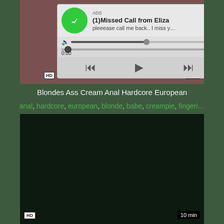[Figure (screenshot): Video thumbnail with ad overlay showing missed call notification from Eliza, with media player controls (rewind, play, fast-forward), seek bar, and volume controls. HD badge visible.]
Blondes Ass Cream Anal Hardcore European
anal, hardcore, european, blonde, babe, creampie, fingeri...
[Figure (screenshot): Second video thumbnail showing dark/black screen with HD badge and 10 min duration label.]